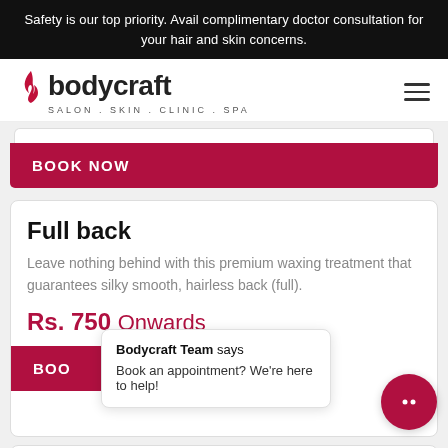Safety is our top priority. Avail complimentary doctor consultation for your hair and skin concerns.
[Figure (logo): Bodycraft logo with flame icon, text 'bodycraft' in bold and subtitle 'SALON . SKIN . CLINIC . SPA']
BOOK NOW
Full back
Leave nothing behind with this premium waxing treatment that guarantees silky smooth, hairless back (full).
Rs. 750 Onwards
Bodycraft Team says
Book an appointment? We're here to help!